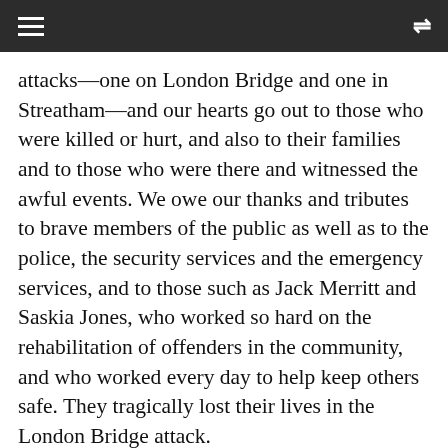≡  ⇌
attacks—one on London Bridge and one in Streatham—and our hearts go out to those who were killed or hurt, and also to their families and to those who were there and witnessed the awful events. We owe our thanks and tributes to brave members of the public as well as to the police, the security services and the emergency services, and to those such as Jack Merritt and Saskia Jones, who worked so hard on the rehabilitation of offenders in the community, and who worked every day to help keep others safe. They tragically lost their lives in the London Bridge attack.
I agree with the Lord Chancellor and with my h Friend the Member for Torfaen (Nick Thomas-Symonds) that we should come together on this,